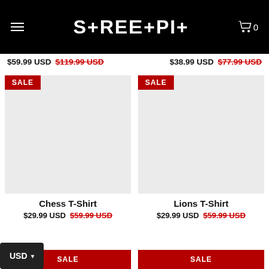STREET+PIT
$59.99 USD  $119.99 USD
$38.99 USD  $77.99 USD
[Figure (screenshot): Product card with SALE badge - Chess T-Shirt, light gray background placeholder image]
[Figure (screenshot): Product card with SALE badge - Lions T-Shirt, light gray background placeholder image]
Chess T-Shirt
$29.99 USD  $59.99 USD
Lions T-Shirt
$29.99 USD  $59.99 USD